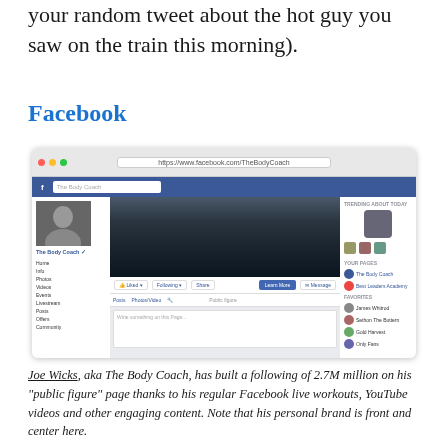your random tweet about the hot guy you saw on the train this morning).
Facebook
[Figure (screenshot): Screenshot of Joe Wicks aka The Body Coach Facebook page, showing a cover photo of a performer on stage in front of a large crowd, profile picture, navigation sidebar, and page info.]
Joe Wicks, aka The Body Coach, has built a following of 2.7M million on his “public figure” page thanks to his regular Facebook live workouts, YouTube videos and other engaging content. Note that his personal brand is front and center here.